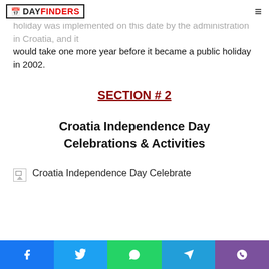DAY FINDERS
October 1991. Ten years would pass before the holiday was implemented on this date by the administration in Croatia, and it would take one more year before it became a public holiday in 2002.
SECTION # 2
Croatia Independence Day Celebrations & Activities
[Figure (photo): Broken image placeholder with alt text: Croatia Independence Day Celebrate]
Social share bar: Facebook, Twitter, WhatsApp, Telegram, Viber